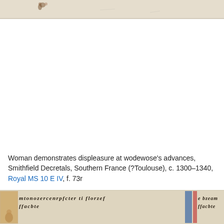[Figure (photo): Top strip of a medieval manuscript illumination showing a partial scene with figures, cream/beige parchment background with faint decorative marks and small colored figure details.]
Woman demonstrates displeasure at wodewose's advances, Smithfield Decretals, Southern France (?Toulouse), c. 1300–1340, Royal MS 10 E IV, f. 73r
[Figure (photo): Bottom strip of a medieval manuscript page showing Gothic script text in black ink on cream parchment, with an illuminated initial and decorative border elements in blue and red.]